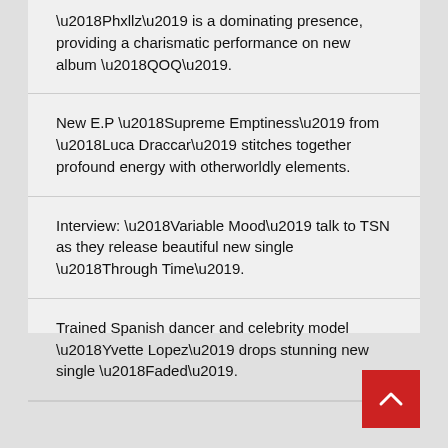‘Phxllz’ is a dominating presence, providing a charismatic performance on new album ‘QOQ’.
New E.P ‘Supreme Emptiness’ from ‘Luca Draccar’ stitches together profound energy with otherworldly elements.
Interview: ‘Variable Mood’ talk to TSN as they release beautiful new single ‘Through Time’.
Trained Spanish dancer and celebrity model ‘Yvette Lopez’ drops stunning new single ‘Faded’.